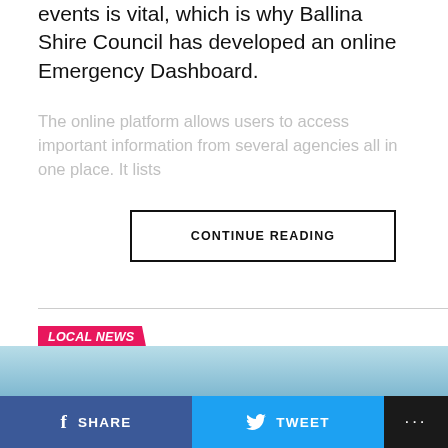events is vital, which is why Ballina Shire Council has developed an online Emergency Dashboard.
The online platform allows users to access important information from several agencies all in one place. It lists
CONTINUE READING
LOCAL NEWS
Crews detect water leaks by listening
Published 1 week ago on 15 August 2022
By Amanda